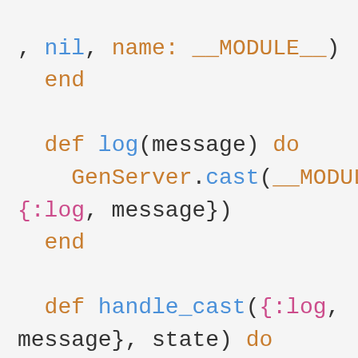, nil, name: __MODULE__)
  end

  def log(message) do
    GenServer.cast(__MODULE__,
{:log, message})
  end

  def handle_cast({:log,
message}, state) do
    # insert into db
    {:noreply, state}
  end
end